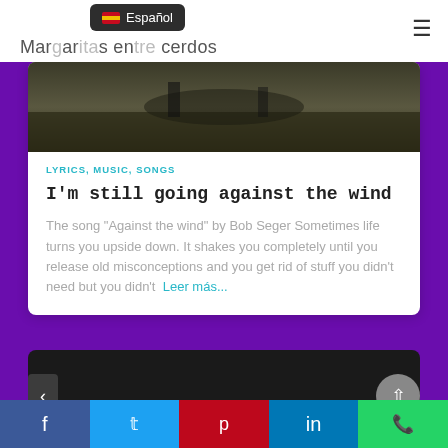Margaritas entre cerdos
Español
[Figure (screenshot): Dark outdoor landscape photo thumbnail at top of article card]
LYRICS, MUSIC, SONGS
I'm still going against the wind
The song "Against the wind" by Bob Seger Sometimes life turns you upside down. It shakes you completely until you release old misconceptions and you get rid of stuff you didn't need but you didn't  Leer más...
[Figure (screenshot): Partial dark card preview at bottom]
f  t  p  in  (whatsapp icon)